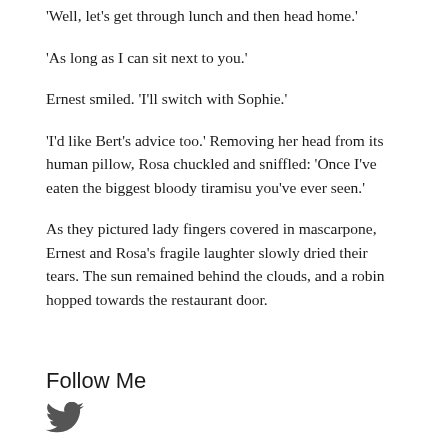'Well, let's get through lunch and then head home.'
'As long as I can sit next to you.'
Ernest smiled. 'I'll switch with Sophie.'
'I'd like Bert's advice too.' Removing her head from its human pillow, Rosa chuckled and sniffled: 'Once I've eaten the biggest bloody tiramisu you've ever seen.'
As they pictured lady fingers covered in mascarpone, Ernest and Rosa's fragile laughter slowly dried their tears. The sun remained behind the clouds, and a robin hopped towards the restaurant door.
Follow Me
[Figure (logo): Twitter bird icon in dark grey]